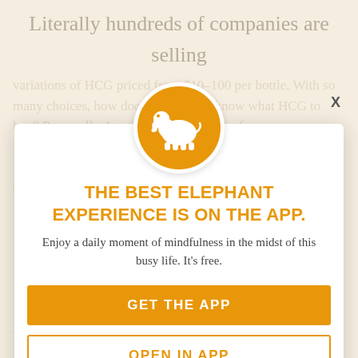Literally hundreds of companies are selling
variations of HCG priced from $10–100 per bottle. With so many choices, how does a consumer know what HCG to buy? Personally, I got a recommendation from a Naturopathic Physician, who has been using own program. You sell HCG products that I sell to clients at 100% success rate.
[Figure (logo): Orange circle with white elephant silhouette icon]
THE BEST ELEPHANT EXPERIENCE IS ON THE APP.
Enjoy a daily moment of mindfulness in the midst of this busy life. It's free.
GET THE APP
The big question of why HCG is successful is HCG? If you don't change old eating habits and
OPEN IN APP